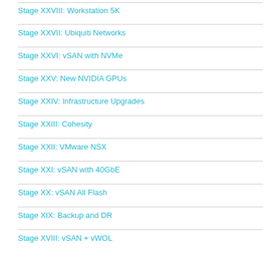Stage XXVIII: Workstation 5K
Stage XXVII: Ubiquiti Networks
Stage XXVI: vSAN with NVMe
Stage XXV: New NVIDIA GPUs
Stage XXIV: Infrastructure Upgrades
Stage XXIII: Cohesity
Stage XXII: VMware NSX
Stage XXI: vSAN with 40GbE
Stage XX: vSAN All Flash
Stage XIX: Backup and DR
Stage XVIII: vSAN + vWOL